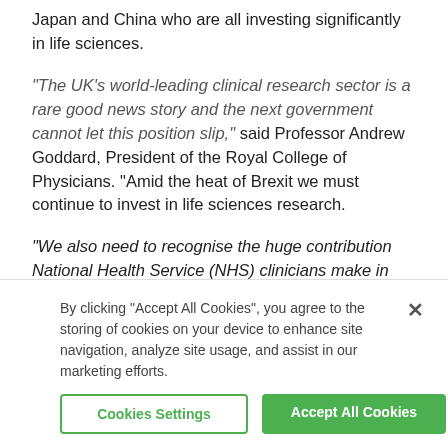Japan and China who are all investing significantly in life sciences.
“The UK’s world-leading clinical research sector is a rare good news story and the next government cannot let this position slip,” said Professor Andrew Goddard, President of the Royal College of Physicians. “Amid the heat of Brexit we must continue to invest in life sciences research.
“We also need to recognise the huge contribution National Health Service (NHS) clinicians make in giving up their time for these studies. NHS organisations across the country should explore how clinicians can best be given the time and skills to engage in
By clicking “Accept All Cookies”, you agree to the storing of cookies on your device to enhance site navigation, analyze site usage, and assist in our marketing efforts.
Cookies Settings
Accept All Cookies